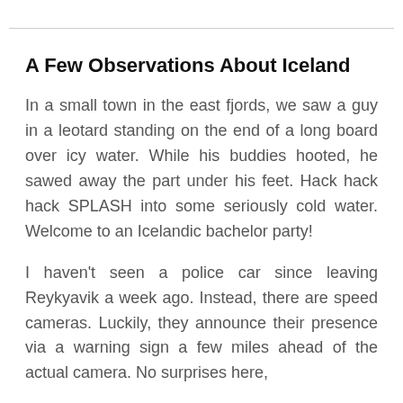A Few Observations About Iceland
In a small town in the east fjords, we saw a guy in a leotard standing on the end of a long board over icy water. While his buddies hooted, he sawed away the part under his feet. Hack hack hack SPLASH into some seriously cold water. Welcome to an Icelandic bachelor party!
I haven't seen a police car since leaving Reykyavik a week ago. Instead, there are speed cameras. Luckily, they announce their presence via a warning sign a few miles ahead of the actual camera. No surprises here,